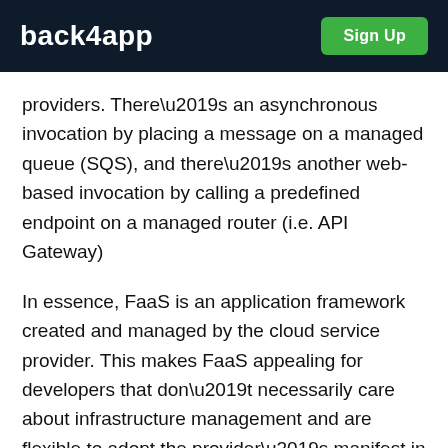back4app | Sign Up
providers. There’s an asynchronous invocation by placing a message on a managed queue (SQS), and there’s another web-based invocation by calling a predefined endpoint on a managed router (i.e. API Gateway)
In essence, FaaS is an application framework created and managed by the cloud service provider. This makes FaaS appealing for developers that don’t necessarily care about infrastructure management and are flexible to adopt the provider’s manifest in exchange for a piece of mind.